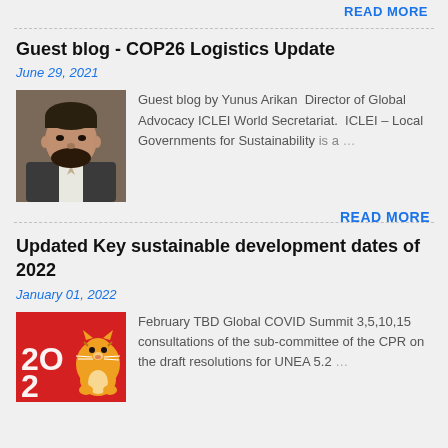READ MORE
Guest blog - COP26 Logistics Update
June 29, 2021
[Figure (photo): Portrait photo of Yunus Arikan, a man in a suit with a beard]
Guest blog by Yunus Arikan  Director of Global Advocacy ICLEI World Secretariat.  ICLEI – Local Governments for Sustainability is a ...
READ MORE
Updated Key sustainable development dates of 2022
January 01, 2022
[Figure (illustration): Red background image with '2022' text and a tiger cartoon for Chinese New Year]
February TBD Global COVID Summit 3,5,10,15 consultations of the sub-committee of the CPR on the draft resolutions for UNEA 5.2 ...